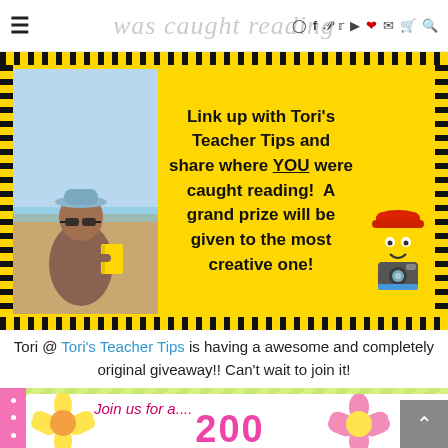was caught reading — navigation header with hamburger menu and social icons
[Figure (illustration): Yellow banner with dotted border, a photo of a man reading a yellow book on a beach, text about Tori's Teacher Tips giveaway, and a cartoon emoji holding a camera]
Tori @ Tori's Teacher Tips is having a awesome and completely original giveaway!! Can't wait to join it!
[Figure (illustration): Pink and green bordered card with flowers, text 'Join us for a....' and large number '200']